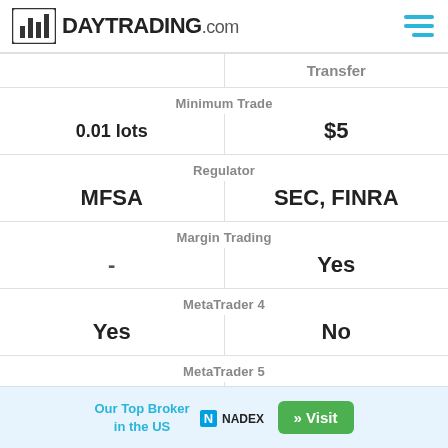DAYTRADING.com
|  | Transfer |  |
| --- | --- | --- |
| Minimum Trade |  |  |
| 0.01 lots |  | $5 |
| Regulator |  |  |
| MFSA |  | SEC, FINRA |
| Margin Trading |  |  |
| - |  | Yes |
| MetaTrader 4 |  |  |
| Yes |  | No |
| MetaTrader 5 |  |  |
| No |  | No |
| cTrader |  |  |
Our Top Broker in the US  NADEX  » Visit